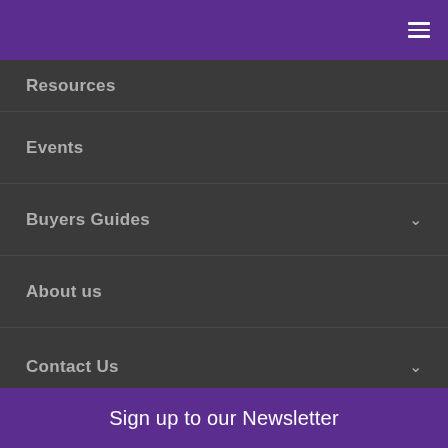[Figure (screenshot): Purple header bar with hamburger menu icon (three horizontal lines) in top-right corner]
Resources
Events
Buyers Guides
About us
Contact Us
Sign up to our Newsletter